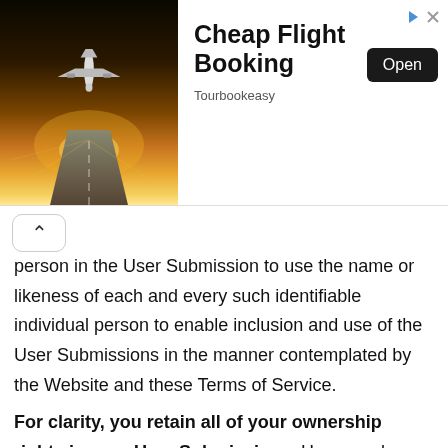[Figure (infographic): Advertisement banner for Cheap Flight Booking by Tourbookeasy, showing a plane on a runway at sunset with an Open button]
person in the User Submission to use the name or likeness of each and every such identifiable individual person to enable inclusion and use of the User Submissions in the manner contemplated by the Website and these Terms of Service.
For clarity, you retain all of your ownership rights in your User Submissions. However, by submitting the Us Submissions to Urbanlinx, subject to a separately executed artist representation agreement whose terms shall be fully binding upon you, you hereby grant Urbanlinx a license to use, reproduce, distribute, displa and perform the User Submissions in connection with